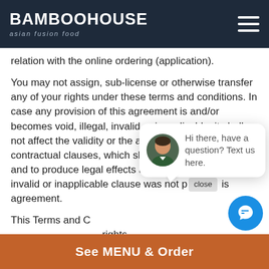BAMBOOHOUSE asian fusion food
relation with the online ordering (application).
You may not assign, sub-license or otherwise transfer any of your rights under these terms and conditions. In case any provision of this agreement is and/or becomes void, illegal, invalid or inapplicable, it shall not affect the validity or the applicability of the other contractual clauses, which shall continue to be in force and to produce legal effects as if the void, illegal, invalid or inapplicable clause was not part of this agreement.
This Terms and Conditions does not transfer any intellectual property rights.
The Restaurant trademarks, as well as the related trademarks of others and related proprietary property
See MENU & Order